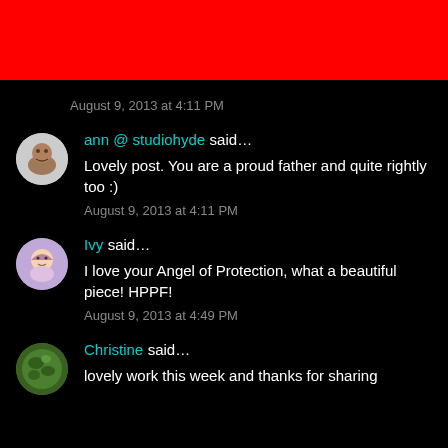[Figure (other): Red banner bar at top of page]
August 9, 2013 at 4:11 PM
ann @ studiohyde said... Lovely post. You are a proud father and quite rightly too :)
August 9, 2013 at 4:11 PM
Ivy said... I love your Angel of Protection, what a beautiful piece! HPPF!
August 9, 2013 at 4:49 PM
Christine said... lovely work this week and thanks for sharing